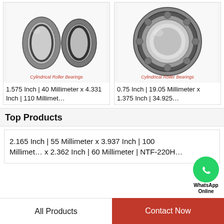[Figure (photo): Cylindrical roller bearing disassembled showing inner and outer races with needle rollers]
Cylindrical Roller Bearings
1.575 Inch | 40 Millimeter x 4.331 Inch | 110 Millimet…
[Figure (photo): Cylindrical roller bearing assembled showing outer ring with rollers]
Cylindrical Roller Bearings
0.75 Inch | 19.05 Millimeter x 1.375 Inch | 34.925…
[Figure (logo): WhatsApp green circle icon with phone handset]
WhatsApp
Online
Top Products
2.165 Inch | 55 Millimeter x 3.937 Inch | 100 Millimet… x 2.362 Inch | 60 Millimeter | NTF-220H…
All Products   Contact Now